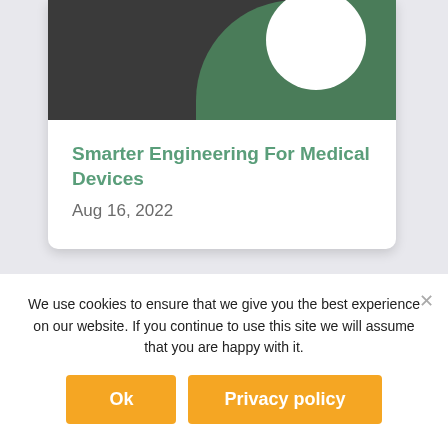[Figure (illustration): Card image area with dark background, green arc shape and white circle on right side, partially visible illustration of people/figures at top]
Smarter Engineering For Medical Devices
Aug 16, 2022
We use cookies to ensure that we give you the best experience on our website. If you continue to use this site we will assume that you are happy with it.